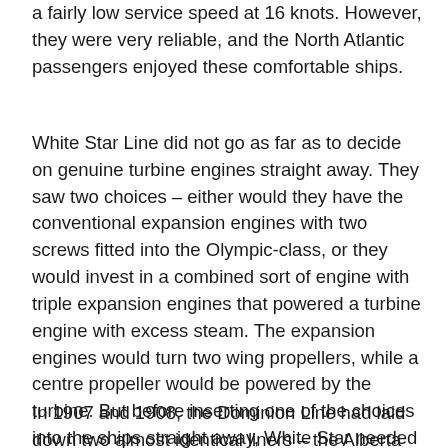a fairly low service speed at 16 knots. However, they were very reliable, and the North Atlantic passengers enjoyed these comfortable ships.
White Star Line did not go as far as to decide on genuine turbine engines straight away. They saw two choices – either would they have the conventional expansion engines with two screws fitted into the Olympic-class, or they would invest in a combined sort of engine with triple expansion engines that powered a turbine engine with excess steam. The expansion engines would turn two wing propellers, while a centre propeller would be powered by the turbine. But before inserting one of the choices into the ships straight away, White Star needed to test the two engine types against each other.
In 1907 and 1908, the Dominion Line had laid down two almost identical liners – the Alberta and the Albany. The